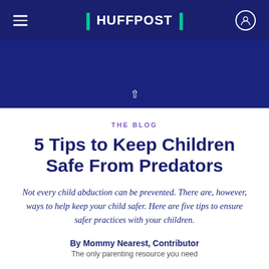HUFFPOST
THE BLOG
5 Tips to Keep Children Safe From Predators
Not every child abduction can be prevented. There are, however, ways to help keep your child safer. Here are five tips to ensure safer practices with your children.
By Mommy Nearest, Contributor
The only parenting resource you need